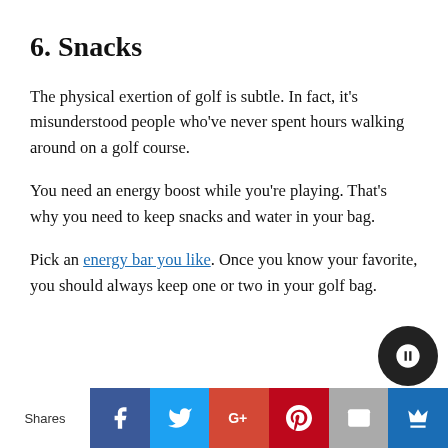6. Snacks
The physical exertion of golf is subtle. In fact, it’s misunderstood people who’ve never spent hours walking around on a golf course.
You need an energy boost while you’re playing. That’s why you need to keep snacks and water in your bag.
Pick an energy bar you like. Once you know your favorite, you should always keep one or two in your golf bag.
Shares | Facebook | Twitter | Google+ | Pinterest | Email | Crown